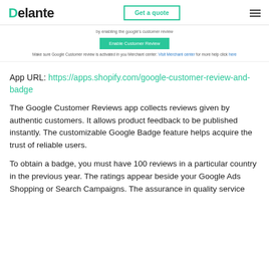Delante | Get a quote
[Figure (screenshot): Screenshot of a 'Enable Customer Review' UI section with label 'by enabling the google's customer review', an 'Enable Customer Review' button, and a note about Google Customer review activation in Merchant center.]
App URL: https://apps.shopify.com/google-customer-review-and-badge
The Google Customer Reviews app collects reviews given by authentic customers. It allows product feedback to be published instantly. The customizable Google Badge feature helps acquire the trust of reliable users.
To obtain a badge, you must have 100 reviews in a particular country in the previous year. The ratings appear beside your Google Ads Shopping or Search Campaigns. The assurance in quality service